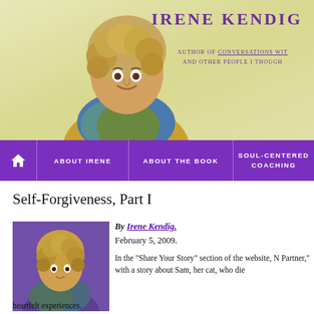[Figure (photo): Header photo of Irene Kendig, a woman with curly blonde hair wearing a colorful blue/green scarf and yellow top, posed against a light greenish-yellow gradient background]
Irene Kendig
Author of Conversations With and Other People I Though
[Figure (screenshot): Purple navigation bar with home icon, About Irene, About the Book, Soul-Centered Coaching links]
Self-Forgiveness, Part I
[Figure (photo): Small inline photo of Irene Kendig with curly hair and colorful scarf against purple background]
By Irene Kendig.
February 5, 2009.
In the "Share Your Story" section of the website, N Partner," with a story about Sam, her cat, who die heartfelt experiences.
Nini's story caused me to reflect on my dog Ringo, who died after being h mom and two younger brothers in a shabby two-bedroom apartment in L... The laundry room was below our apartment and next to the garage...